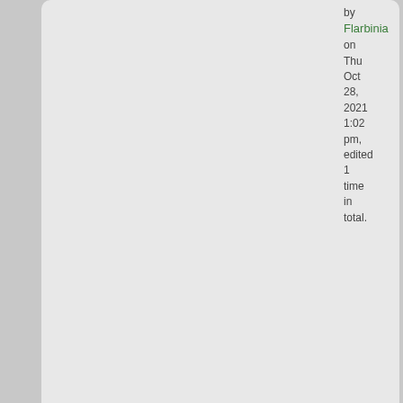by Flarbinia on Thu Oct 28, 2021 1:02 pm, edited 1 time in total.
[Figure (illustration): Red flag with black border and black star design]
QUOTE
by Ceystile » Thu Oct 21, 2021 3:03 am
Ceystile
Diplomat
Posts: 725
Founded: Jan 29, 2019
Inoffensive Centrist Democracy